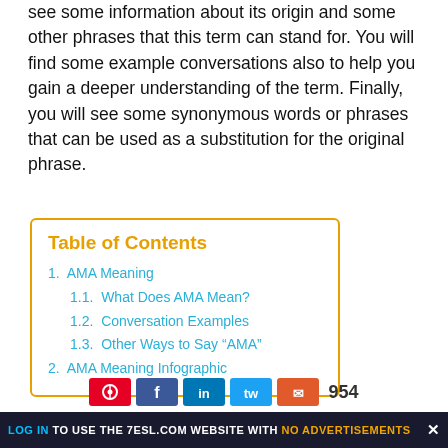see some information about its origin and some other phrases that this term can stand for. You will find some example conversations also to help you gain a deeper understanding of the term. Finally, you will see some synonymous words or phrases that can be used as a substitution for the original phrase.
Table of Contents
1. AMA Meaning
1.1. What Does AMA Mean?
1.2. Conversation Examples
1.3. Other Ways to Say “AMA”
2. AMA Meaning Infographic
[Figure (infographic): Social media sharing buttons (Pinterest, Facebook, LinkedIn, Twitter, Mail) with a share count of 954]
LOG IN TO USE THE 7ESL.COM WEBSITE WITH NO ADVERTISEMENTS